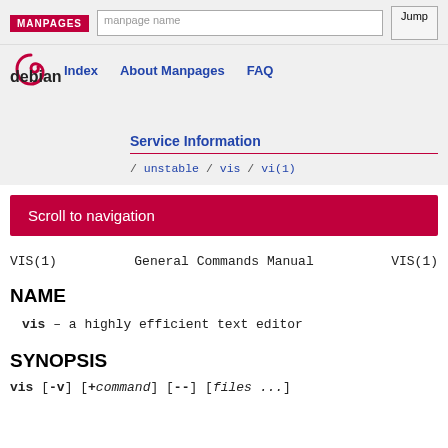MANPAGES | manpage name | Jump | Index | About Manpages | FAQ | debian
Service Information
/ unstable / vis / vi(1)
Scroll to navigation
VIS(1)    General Commands Manual    VIS(1)
NAME
vis – a highly efficient text editor
SYNOPSIS
vis [-v] [+command] [--] [files ...]